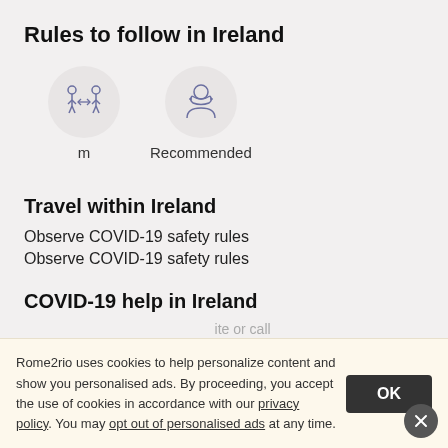Rules to follow in Ireland
[Figure (infographic): Two icons: social distancing (two people with arrow between) labeled 'm', and mask/face covering (person wearing mask) labeled 'Recommended']
Travel within Ireland
Observe COVID-19 safety rules
Observe COVID-19 safety rules
COVID-19 help in Ireland
Rome2rio uses cookies to help personalize content and show you personalised ads. By proceeding, you accept the use of cookies in accordance with our privacy policy. You may opt out of personalised ads at any time.